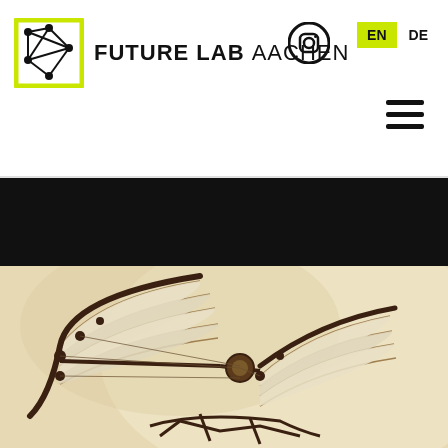[Figure (logo): Future Lab Aachen logo: geometric network/graph icon in yellow-green square with nodes and edges, next to bold text FUTURE LAB AACHEN]
[Figure (logo): Instagram icon (camera outline in circle)]
EN
DE
[Figure (illustration): Hamburger menu icon (three horizontal lines)]
[Figure (photo): Black banner / dark header band]
[Figure (photo): Da Vinci ornithopter flying machine model photographed against a warm beige/cream background, showing articulated wing structures with fabric panels and mechanical joints]